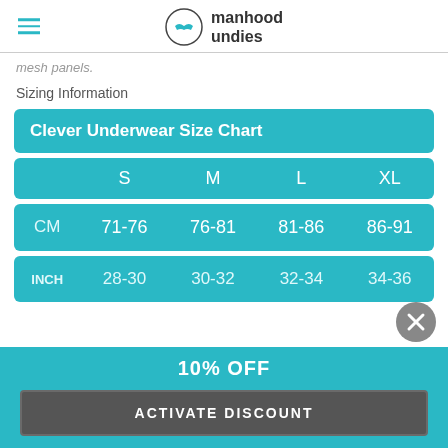manhood undies
mesh panels.
Sizing Information
|  | S | M | L | XL |
| --- | --- | --- | --- | --- |
| CM | 71-76 | 76-81 | 81-86 | 86-91 |
| INCH | 28-30 | 30-32 | 32-34 | 34-36 |
10% OFF
ACTIVATE DISCOUNT